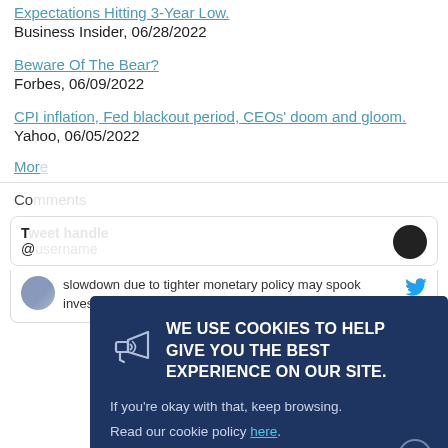Expectations Hitting 3-Year Low.
Business Insider, 06/28/2022
Beware Of The Bear?
Forbes, 06/09/2022
CPI inflation, Fed blackout period, CEOs' doom and gloom.
Yahoo, 06/05/2022
More
Comments
T @
slowdown due to tighter monetary policy may spook investors in the months ahead.
[Figure (screenshot): Cookie consent overlay with dark navy background reading: WE USE COOKIES TO HELP GIVE YOU THE BEST EXPERIENCE ON OUR SITE. If you're okay with that, keep browsing. Read our cookie policy here. An X close button appears at the bottom right and a megaphone icon on the left.]